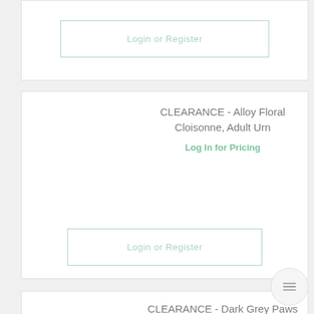Login or Register
CLEARANCE - Alloy Floral Cloisonne, Adult Urn
Log In for Pricing
Login or Register
CLEARANCE - Dark Grey Paws to Heaven Urn 7"
Log In for Pricing